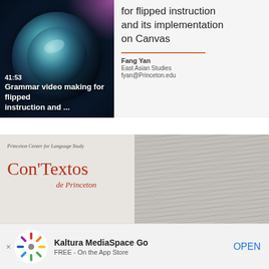[Figure (screenshot): Video thumbnail showing a camera lens on the left with overlay text '41:53' and 'Grammar video making for flipped instruction and...' On the right is a slide preview showing the title 'for flipped instruction and its implementation on Canvas', presenter Fang Yan, East Asian Studies, fyan@Princeton.edu]
[Figure (screenshot): Video thumbnail split in two: left half shows a book cover 'ConTextos de Princeton' by Princeton Center for Language Study on light gray background; right half shows a blurry manuscript/handwriting image in grayscale]
Kaltura MediaSpace Go
FREE - On the App Store